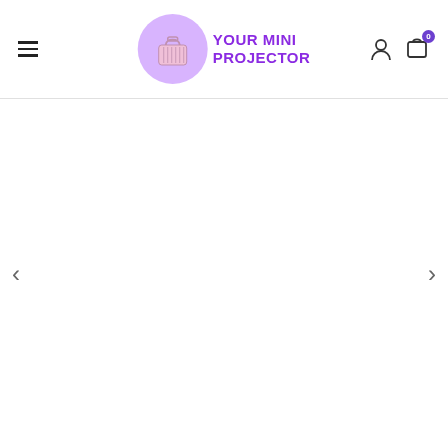[Figure (logo): Your Mini Projector logo: a circular purple badge with a pink handbag icon, and bold purple text 'YOUR MINI PROJECTOR' to the right]
[Figure (other): Navigation header with hamburger menu on left, logo centered, user account icon and shopping cart icon with badge '0' on right]
[Figure (other): Main content area - blank white slider area with left chevron '<' and right chevron '>' navigation arrows]